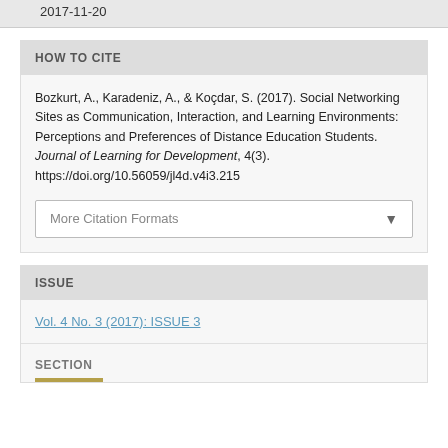2017-11-20
HOW TO CITE
Bozkurt, A., Karadeniz, A., & Koçdar, S. (2017). Social Networking Sites as Communication, Interaction, and Learning Environments: Perceptions and Preferences of Distance Education Students. Journal of Learning for Development, 4(3). https://doi.org/10.56059/jl4d.v4i3.215
More Citation Formats
ISSUE
Vol. 4 No. 3 (2017): ISSUE 3
SECTION